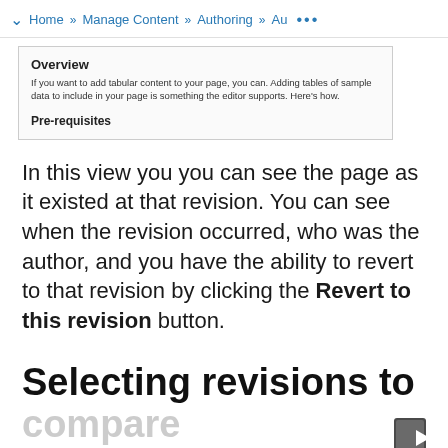Home » Manage Content » Authoring » Au ...
Overview
If you want to add tabular content to your page, you can. Adding tables of sample data to include in your page is something the editor supports. Here's how.
Pre-requisites
In this view you you can see the page as it existed at that revision. You can see when the revision occurred, who was the author, and you have the ability to revert to that revision by clicking the Revert to this revision button.
Selecting revisions to compare